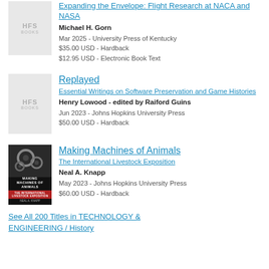[Figure (illustration): HFS Books placeholder cover for flight research book]
Expanding the Envelope: Flight Research at NACA and NASA
Michael H. Gorn
Mar 2025 - University Press of Kentucky
$35.00 USD - Hardback
$12.95 USD - Electronic Book Text
[Figure (illustration): HFS Books placeholder cover for Replayed book]
Replayed
Essential Writings on Software Preservation and Game Histories
Henry Lowood - edited by Raiford Guins
Jun 2023 - Johns Hopkins University Press
$50.00 USD - Hardback
[Figure (photo): Dark book cover for Making Machines of Animals showing gears, with red banner and author name Neal A. Knapp]
Making Machines of Animals
The International Livestock Exposition
Neal A. Knapp
May 2023 - Johns Hopkins University Press
$60.00 USD - Hardback
See All 200 Titles in TECHNOLOGY & ENGINEERING / History